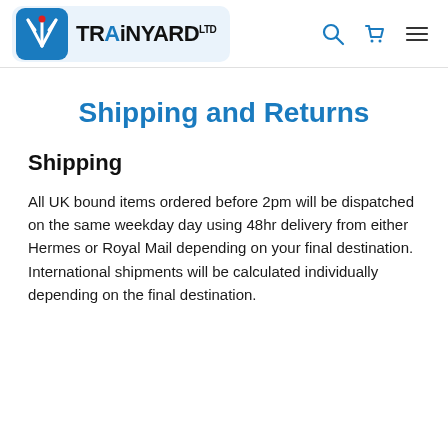TRAINYARD LTD
Shipping and Returns
Shipping
All UK bound items ordered before 2pm will be dispatched on the same weekday day using 48hr delivery from either Hermes or Royal Mail depending on your final destination. International shipments will be calculated individually depending on the final destination.